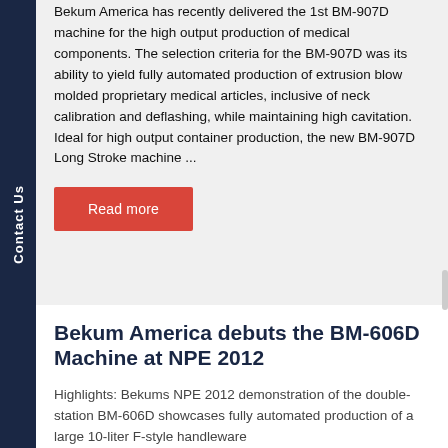Bekum America has recently delivered the 1st BM-907D machine for the high output production of medical components. The selection criteria for the BM-907D was its ability to yield fully automated production of extrusion blow molded proprietary medical articles, inclusive of neck calibration and deflashing, while maintaining high cavitation. Ideal for high output container production, the new BM-907D Long Stroke machine ...
Read more
Bekum America debuts the BM-606D Machine at NPE 2012
Highlights: Bekums NPE 2012 demonstration of the double-station BM-606D showcases fully automated production of a large 10-liter F-style handleware